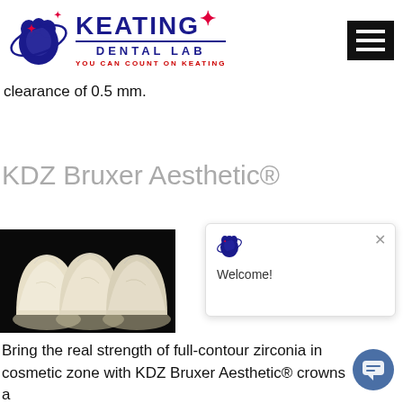[Figure (logo): Keating Dental Lab logo with blue tooth graphic and tagline 'You Can Count On Keating']
clearance of 0.5 mm.
KDZ Bruxer Aesthetic®
[Figure (photo): Three white/ivory full-contour zirconia dental crowns on black background]
[Figure (screenshot): Chat widget popup with small Keating tooth logo, close X button, and 'Welcome!' text]
Bring the real strength of full-contour zirconia in cosmetic zone with KDZ Bruxer Aesthetic® crowns a